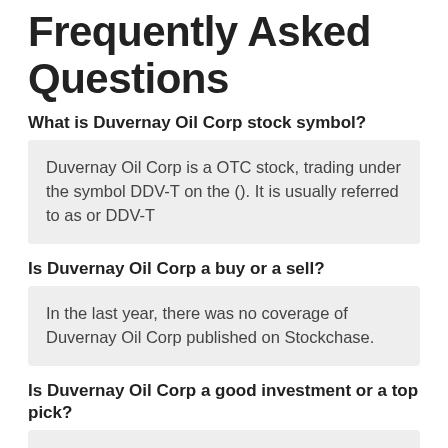Frequently Asked Questions
What is Duvernay Oil Corp stock symbol?
Duvernay Oil Corp is a OTC stock, trading under the symbol DDV-T on the (). It is usually referred to as or DDV-T
Is Duvernay Oil Corp a buy or a sell?
In the last year, there was no coverage of Duvernay Oil Corp published on Stockchase.
Is Duvernay Oil Corp a good investment or a top pick?